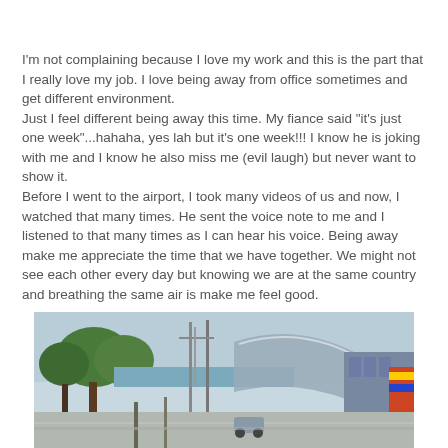I'm not complaining because I love my work and this is the part that I really love my job. I love being away from office sometimes and get different environment.
Just I feel different being away this time. My fiance said "it's just one week"...hahaha, yes lah but it's one week!!! I know he is joking with me and I know he also miss me (evil laugh) but never want to show it.
Before I went to the airport, I took many videos of us and now, I watched that many times. He sent the voice note to me and I listened to that many times as I can hear his voice. Being away make me appreciate the time that we have together. We might not see each other every day but knowing we are at the same country and breathing the same air is make me feel good.
[Figure (photo): Outdoor urban scene with trees, tall poles/cranes, a large curved architectural structure, and colorful signage visible on the right side. Sky is overcast.]